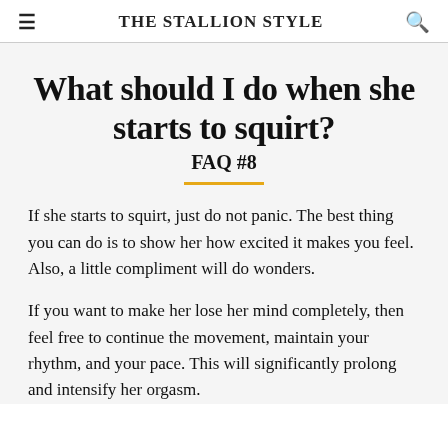THE STALLION STYLE
What should I do when she starts to squirt? FAQ #8
If she starts to squirt, just do not panic. The best thing you can do is to show her how excited it makes you feel. Also, a little compliment will do wonders.
If you want to make her lose her mind completely, then feel free to continue the movement, maintain your rhythm, and your pace. This will significantly prolong and intensify her orgasm.